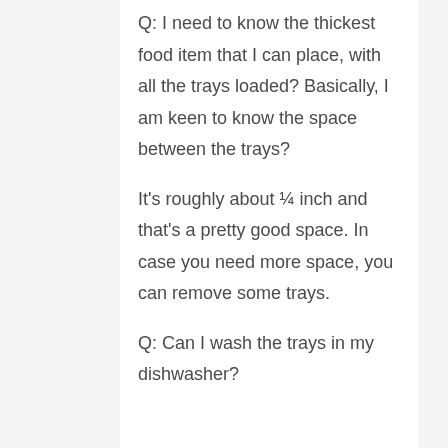Q: I need to know the thickest food item that I can place, with all the trays loaded? Basically, I am keen to know the space between the trays?
It's roughly about ¼ inch and that's a pretty good space. In case you need more space, you can remove some trays.
Q: Can I wash the trays in my dishwasher?